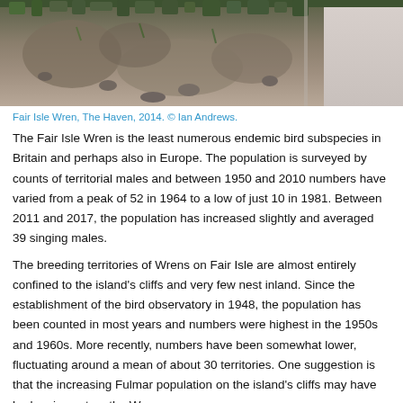[Figure (photo): Close-up photo of a Fair Isle Wren on rocky ground with moss and grass, The Haven, 2014.]
Fair Isle Wren, The Haven, 2014. © Ian Andrews.
The Fair Isle Wren is the least numerous endemic bird subspecies in Britain and perhaps also in Europe. The population is surveyed by counts of territorial males and between 1950 and 2010 numbers have varied from a peak of 52 in 1964 to a low of just 10 in 1981. Between 2011 and 2017, the population has increased slightly and averaged 39 singing males.
The breeding territories of Wrens on Fair Isle are almost entirely confined to the island's cliffs and very few nest inland. Since the establishment of the bird observatory in 1948, the population has been counted in most years and numbers were highest in the 1950s and 1960s. More recently, numbers have been somewhat lower, fluctuating around a mean of about 30 territories. One suggestion is that the increasing Fulmar population on the island's cliffs may have had an impact on the Wrens.
Comparing them with the Wrens of Shetland, Williamson observed that the Fair Isle Wren 'is a paler and brighter brown above, more rufescent on the lower back and rump and suffused with grey on the head and neck in fresh plumage; it is also whiter and broader-barred below than the Willi...